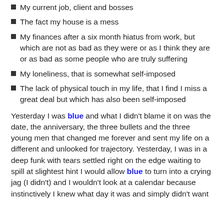My current job, client and bosses
The fact my house is a mess
My finances after a six month hiatus from work, but which are not as bad as they were or as I think they are or as bad as some people who are truly suffering
My loneliness, that is somewhat self-imposed
The lack of physical touch in my life, that I find I miss a great deal but which has also been self-imposed
Yesterday I was blue and what I didn't blame it on was the date, the anniversary, the three bullets and the three young men that changed me forever and sent my life on a different and unlooked for trajectory. Yesterday, I was in a deep funk with tears settled right on the edge waiting to spill at slightest hint I would allow blue to turn into a crying jag (I didn't) and I wouldn't look at a calendar because instinctively I knew what day it was and simply didn't want